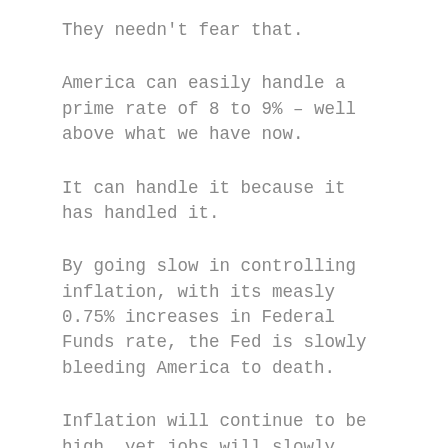They needn't fear that.
America can easily handle a prime rate of 8 to 9% – well above what we have now.
It can handle it because it has handled it.
By going slow in controlling inflation, with its measly 0.75% increases in Federal Funds rate, the Fed is slowly bleeding America to death.
Inflation will continue to be high, yet jobs will slowly dwindle away.
The Fed, paralyzed by a false theory that increased productivity will cause more inflation, will refuse to